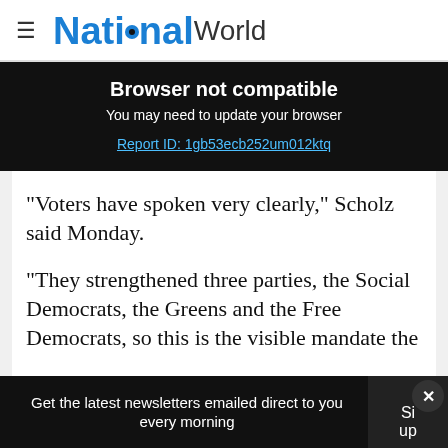NationalWorld
Browser not compatible
You may need to update your browser
Report ID: 1gb53ecb252um012ktq
"Voters have spoken very clearly," Scholz said Monday.
"They strengthened three parties, the Social Democrats, the Greens and the Free Democrats, so this is the visible mandate the
Get the latest newsletters emailed direct to you every morning   Sign up